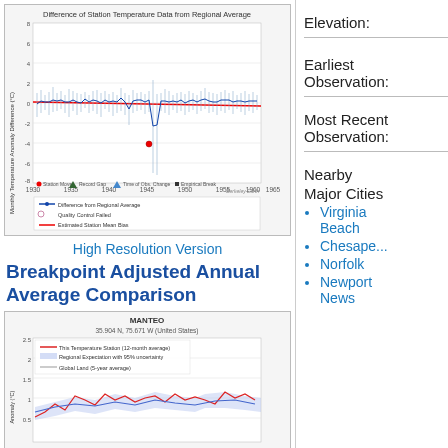[Figure (continuous-plot): Line chart titled 'Difference of Station Temperature Data from Regional Average'. Shows monthly temperature anomaly difference (°C) from 1930 to 1965. Blue line with error bars shows difference from regional average, red horizontal line shows estimated station mean bias, open circles indicate quality control failed. Y-axis from -8 to 8. Legend at bottom shows: Station Move, Record Gap, Time of Obs. Change, Empirical Break. Berkeley Earth watermark.]
High Resolution Version
Breakpoint Adjusted Annual Average Comparison
[Figure (continuous-plot): Line chart titled 'MANTEO' with subtitle '35.904 N, 75.671 W (United States)'. Shows temperature anomaly (°C) over time. Red line: This Temperature Station (12-month average), blue/purple shaded area: Regional Expectation with 95% uncertainty, gray line: Global Land (5-year average). Y-axis from 0.5 to 2.5 visible.]
Elevation:
Earliest Observation:
Most Recent Observation:
Nearby
Major Cities
Virginia Beach
Chesape...
Norfolk
Newport News